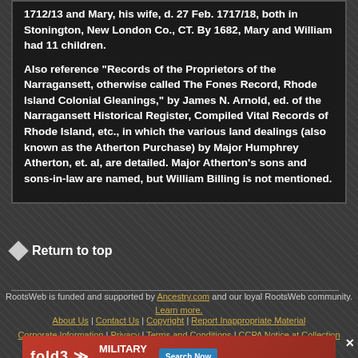1712/13 and Mary, his wife, d. 27 Feb. 1717/18, both in Stonington, New London Co., CT. By 1682, Mary and William had 11 children.
Also reference "Records of the Proprietors of the Narragansett, otherwise called The Fones Record, Rhode Island Colonial Gleanings," by James N. Arnold, ed. of the Narragansett Historical Register, Compiled Vital Records of Rhode Island, etc., in which the various land dealings (also known as the Atherton Purchase) by Major Humphrey Atherton, et. al, are detailed. Major Atherton's sons and sons-in-law are named, but William Billing is not mentioned.
Return to top
RootsWeb is funded and supported by Ancestry.com and our loyal RootsWeb community. Learn more.
About Us | Contact Us | Copyright | Report Inappropriate Material Corporate Information | Privacy | Terms and Conditions | CCPA Notice at Collection
[Figure (other): fold3 Military Records advertisement banner with Search Now button]